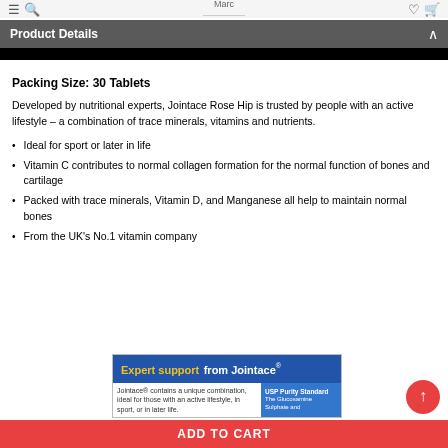Marc
Product Details
Packing Size: 30 Tablets
Developed by nutritional experts, Jointace Rose Hip is trusted by people with an active lifestyle – a combination of trace minerals, vitamins and nutrients.
Ideal for sport or later in life
Vitamin C contributes to normal collagen formation for the normal function of bones and cartilage
Packed with trace minerals, Vitamin D, and Manganese all help to maintain normal bones
From the UK's No.1 vitamin company
[Figure (infographic): Expert support from Jointace advertisement banner with blue background and text]